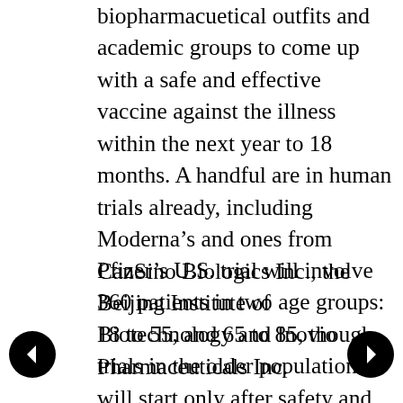biopharmacuetical outfits and academic groups to come up with a safe and effective vaccine against the illness within the next year to 18 months. A handful are in human trials already, including Moderna's and ones from CanSino Biologics Inc., the Beijing Institute of Biotechnology and Inovio Pharmaceuticals Inc.
Pfizer's U.S. trial will involve 360 patients in two age groups: 18 to 55, and 65 to 85, though trials in the older population will start only after safety and immune response are established in the younger group. The University of Rochester Medical Center/Rochester Regional Health and Cincinnati Children's Hospital Medical Center will eventually provide testing sites for the